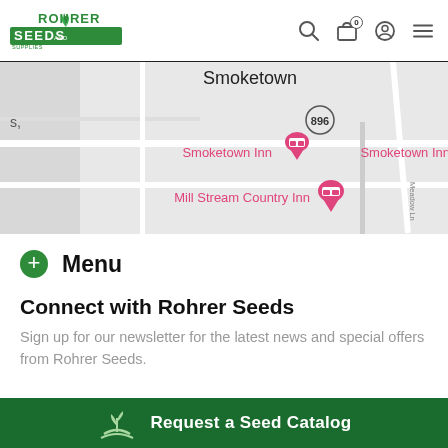Rohrer Seeds and Supplies — site navigation header
[Figure (map): Google Maps screenshot showing Smoketown area with pins for Smoketown Inn and Mill Stream Country Inn, road 896 visible]
+ Menu
Connect with Rohrer Seeds
Sign up for our newsletter for the latest news and special offers from Rohrer Seeds.
[Figure (screenshot): Email input field with placeholder 'john@exam...' and a dark green submit button, overlaid by a 'Request a Seed Catalog' green bar at the bottom]